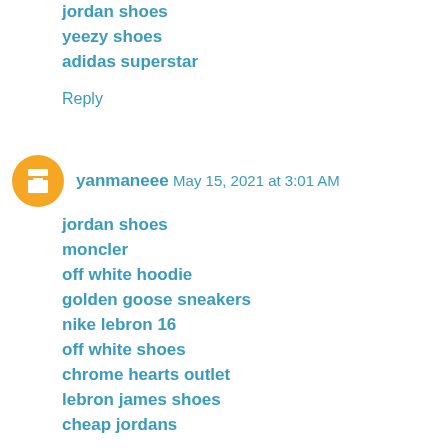jordan shoes
yeezy shoes
adidas superstar
Reply
yanmaneee  May 15, 2021 at 3:01 AM
jordan shoes
moncler
off white hoodie
golden goose sneakers
nike lebron 16
off white shoes
chrome hearts outlet
lebron james shoes
cheap jordans
kyrie shoes
Reply
stisat  June 12, 2022 at 3:00 PM